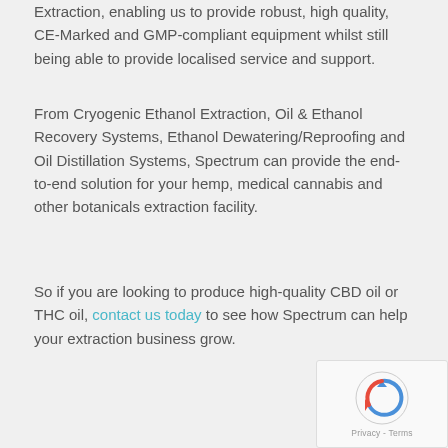Extraction, enabling us to provide robust, high quality, CE-Marked and GMP-compliant equipment whilst still being able to provide localised service and support.
From Cryogenic Ethanol Extraction, Oil & Ethanol Recovery Systems, Ethanol Dewatering/Reproofing and Oil Distillation Systems, Spectrum can provide the end-to-end solution for your hemp, medical cannabis and other botanicals extraction facility.
So if you are looking to produce high-quality CBD oil or THC oil, contact us today to see how Spectrum can help your extraction business grow.
[Figure (other): reCAPTCHA widget with logo and Privacy - Terms text]